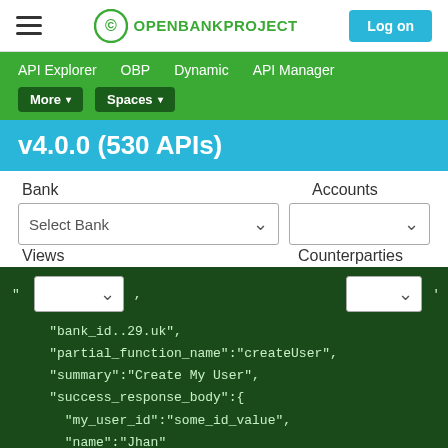Open Bank Project - API Explorer navigation bar with Log on button
API Explorer  OBP  Dynamic  API Manager  More ▾  Spaces ▾
v4.0.0 (530 APIs)
Bank
Select Bank
Accounts
Views
Counterparties
"bank_id": "...g.29.uk",
"partial_function_name":"createUser",
"summary":"Create My User",
"success_response_body":{
  "my_user_id":"some_id_value",
  "name":"Jhan"